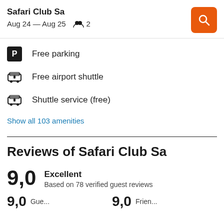Safari Club Sa
Aug 24 — Aug 25   2
Free parking
Free airport shuttle
Shuttle service (free)
Show all 103 amenities
Reviews of Safari Club Sa
9,0  Excellent  Based on 78 verified guest reviews